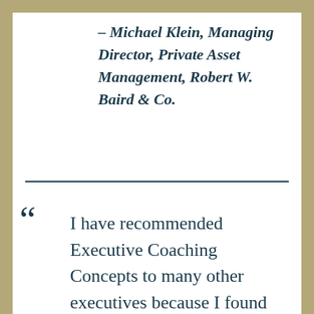– Michael Klein, Managing Director, Private Asset Management, Robert W. Baird & Co.
I have recommended Executive Coaching Concepts to many other executives because I found their approach thorough and